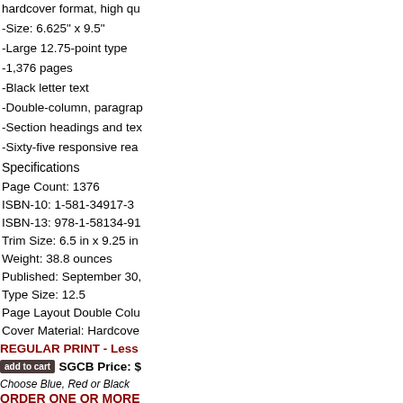hardcover format, high qu
-Size: 6.625" x 9.5"
-Large 12.75-point type
-1,376 pages
-Black letter text
-Double-column, paragrap
-Section headings and tex
-Sixty-five responsive rea
Specifications
Page Count: 1376
ISBN-10: 1-581-34917-3
ISBN-13: 978-1-58134-91
Trim Size: 6.5 in x 9.25 in
Weight: 38.8 ounces
Published: September 30,
Type Size: 12.5
Page Layout Double Colu
Cover Material: Hardcove
REGULAR PRINT - Less
add to cart  SGCB Price: $
Choose Blue, Red or Black
ORDER ONE OR MORE